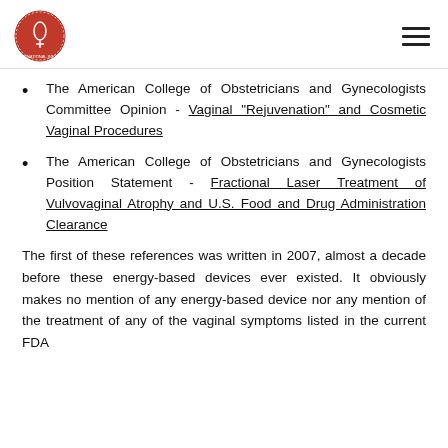Logo and navigation header
The American College of Obstetricians and Gynecologists Committee Opinion - Vaginal "Rejuvenation" and Cosmetic Vaginal Procedures
The American College of Obstetricians and Gynecologists Position Statement - Fractional Laser Treatment of Vulvovaginal Atrophy and U.S. Food and Drug Administration Clearance
The first of these references was written in 2007, almost a decade before these energy-based devices ever existed. It obviously makes no mention of any energy-based device nor any mention of the treatment of any of the vaginal symptoms listed in the current FDA